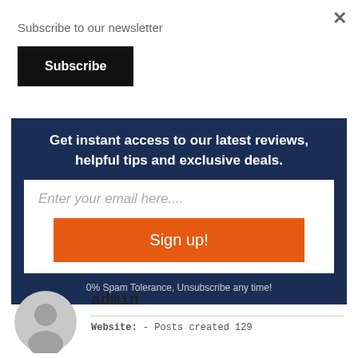Subscribe to our newsletter
×
Subscribe
Get instant access to our latest reviews, helpful tips and exclusive deals.
Enter your email here....
Sign up!
0% Spam Tolerance, Unsubscribe any time!
admin
[Figure (illustration): Generic user avatar icon, circular grey silhouette of a person]
Website:  - Posts created 129